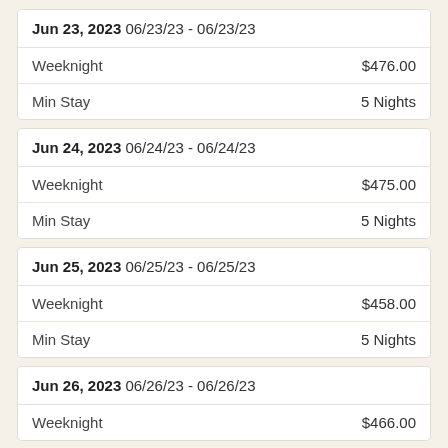| Date | Type | Value |
| --- | --- | --- |
| Jun 23, 2023 06/23/23 - 06/23/23 | Weeknight | $476.00 |
| Jun 23, 2023 06/23/23 - 06/23/23 | Min Stay | 5 Nights |
| Jun 24, 2023 06/24/23 - 06/24/23 | Weeknight | $475.00 |
| Jun 24, 2023 06/24/23 - 06/24/23 | Min Stay | 5 Nights |
| Jun 25, 2023 06/25/23 - 06/25/23 | Weeknight | $458.00 |
| Jun 25, 2023 06/25/23 - 06/25/23 | Min Stay | 5 Nights |
| Jun 26, 2023 06/26/23 - 06/26/23 | Weeknight | $466.00 |